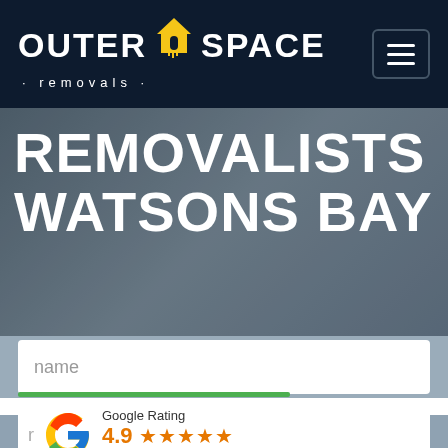[Figure (logo): Outer Space Removals logo with house icon on dark navy background, white bold text OUTER SPACE with yellow house icon between words, and '· removals ·' subtitle below]
REMOVALISTS WATSONS BAY
name
[Figure (infographic): Google Rating widget showing 4.9 stars (5 orange stars) based on 85 reviews, with Google G logo]
email